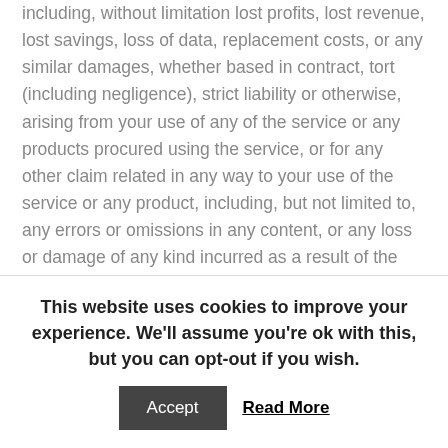including, without limitation lost profits, lost revenue, lost savings, loss of data, replacement costs, or any similar damages, whether based in contract, tort (including negligence), strict liability or otherwise, arising from your use of any of the service or any products procured using the service, or for any other claim related in any way to your use of the service or any product, including, but not limited to, any errors or omissions in any content, or any loss or damage of any kind incurred as a result of the use of the service or any content (or product) posted, transmitted, or otherwise made available via the service, even if advised of their possibility. Because some states or jurisdictions do not allow the exclusion or the limitation of liability for consequential or incidental damages, in
This website uses cookies to improve your experience. We'll assume you're ok with this, but you can opt-out if you wish.
Accept
Read More